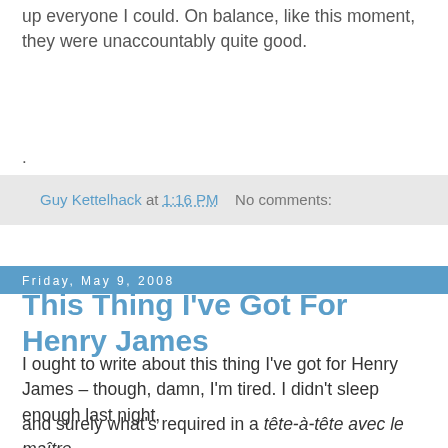up everyone I could. On balance, like this moment, they were unaccountably quite good.
.
Guy Kettelhack at 1:16 PM   No comments:
Friday, May 9, 2008
This Thing I've Got For Henry James
I ought to write about this thing I've got for Henry James – though, damn, I'm tired. I didn't sleep enough last night,
and surely what's required in a tête-à-tête avec le maître is the energy to meet his endless